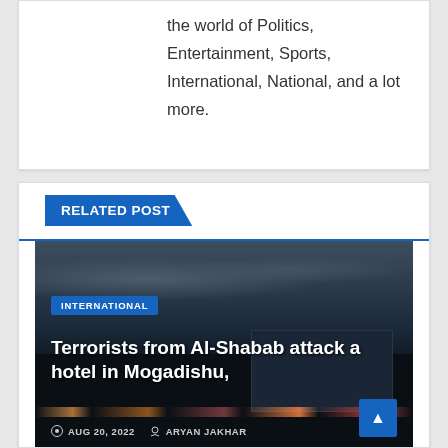the world of Politics, Entertainment, Sports, International, National, and a lot more.
RELATED POST
[Figure (photo): Nighttime cityscape photo showing a dark sky with clouds and city lights, with a building visible on the right side.]
INTERNATIONAL
Terrorists from Al-Shabab attack a hotel in Mogadishu,
AUG 20, 2022   ARYAN JAKHAR